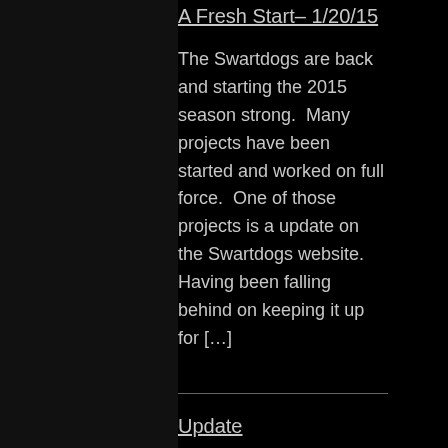A Fresh Start– 1/20/15
The Swartdogs are back and starting the 2015 season strong.  Many projects have been started and worked on full force.  One of those projects is a update on the Swartdogs website.  Having been falling behind on keeping it up for […]
Update
It's alive!
Week Four